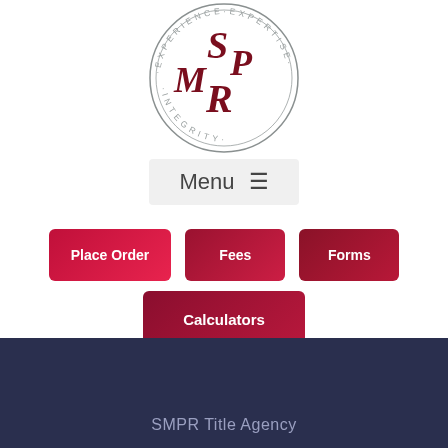[Figure (logo): SMPR circular logo with letters S, M, P, R in dark red and circular text reading EXPERIENCE EXPERTISE INTEGRITY]
Menu ☰
Place Order
Fees
Forms
Calculators
SMPR Title Agency